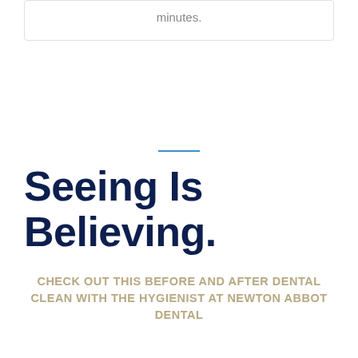minutes.
Seeing Is Believing.
CHECK OUT THIS BEFORE AND AFTER DENTAL CLEAN WITH THE HYGIENIST AT NEWTON ABBOT DENTAL